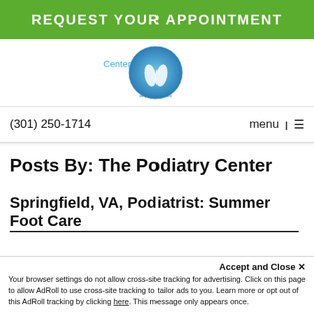REQUEST YOUR APPOINTMENT
[Figure (logo): The Podiatry Center logo with circular blue gradient and feet illustration, text 'Center' in cyan and 'We put your feet first' tagline]
(301) 250-1714
menu | ☰
Posts By: The Podiatry Center
Springfield, VA, Podiatrist: Summer Foot Care
Accept and Close ✕
Your browser settings do not allow cross-site tracking for advertising. Click on this page to allow AdRoll to use cross-site tracking to tailor ads to you. Learn more or opt out of this AdRoll tracking by clicking here. This message only appears once.